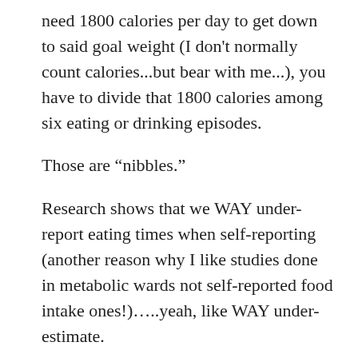need 1800 calories per day to get down to said goal weight (I don't normally count calories...but bear with me...), you have to divide that 1800 calories among six eating or drinking episodes.
Those are “nibbles.”
Research shows that we WAY under-report eating times when self-reporting (another reason why I like studies done in metabolic wards not self-reported food intake ones!)…..yeah, like WAY under-estimate.
Research also shows that we